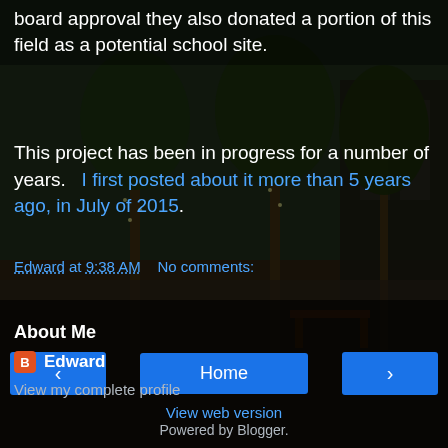board approval they also donated a portion of this field as a potential school site.
This project has been in progress for a number of years.   I first posted about it more than 5 years ago, in July of 2015.
Edward at 9:38 AM    No comments:
Share
‹   Home   ›
View web version
About Me
Edward
View my complete profile
Powered by Blogger.